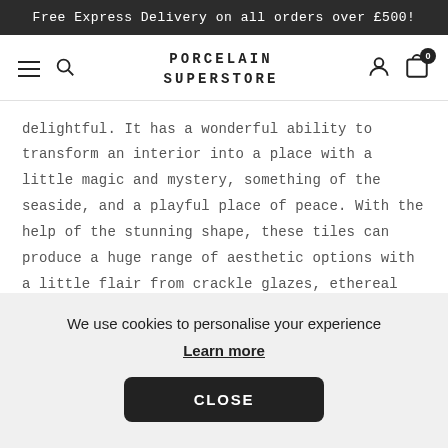Free Express Delivery on all orders over £500!
[Figure (screenshot): Navigation bar with hamburger menu, search icon, PORCELAIN SUPERSTORE logo, account icon, and cart icon with badge showing 0]
delightful. It has a wonderful ability to transform an interior into a place with a little magic and mystery, something of the seaside, and a playful place of peace. With the help of the stunning shape, these tiles can produce a huge range of aesthetic options with a little flair from crackle glazes, ethereal tones and layout choices. The results can be joyfully maritime, rich and regal, or add intrigue to an otherwise classic interior.
We use cookies to personalise your experience
Learn more
CLOSE